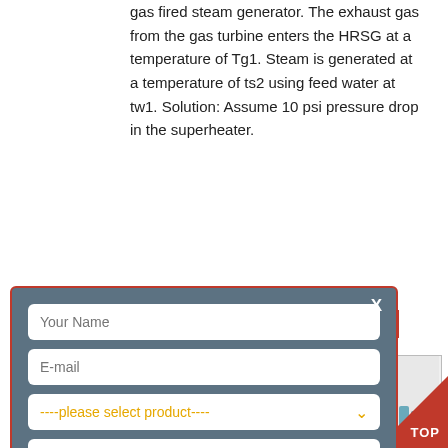gas fired steam generator. The exhaust gas from the gas turbine enters the HRSG at a temperature of Tg1. Steam is generated at a temperature of ts2 using feed water at tw1. Solution: Assume 10 psi pressure drop in the superheater.
[Figure (screenshot): Modal form overlay with fields: Your Name, E-mail, product selector, capacity, and SUBMIT button on slate-blue background with red border]
[Figure (photo): Industrial HRSG machine photo in a light gray box]
Industries
Heat Recovery Steam Generators (HRSG) for Engines, Incinerators, Thermal with standard design features not found in